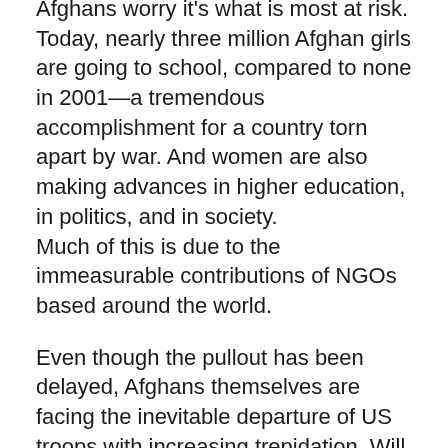Afghans worry it's what is most at risk. Today, nearly three million Afghan girls are going to school, compared to none in 2001—a tremendous accomplishment for a country torn apart by war. And women are also making advances in higher education, in politics, and in society. Much of this is due to the immeasurable contributions of NGOs based around the world.
Even though the pullout has been delayed, Afghans themselves are facing the inevitable departure of US troops with increasing trepidation. Will the Taliban sense a vacuum of power and try to turn the country back a dozen years? What will happen to all the hard work foreign NGOs and governments have done if the security situation deteriorates? Is the new government capable of sustaining the progress that's